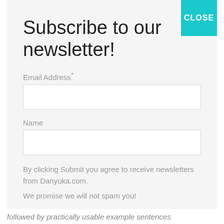Subscribe to our newsletter!
Email Address*
Name
By clicking Submit you agree to receive newsletters from Danyuka.com.

We promise we will not spam you!
Subscribe
followed by practically usable example sentences